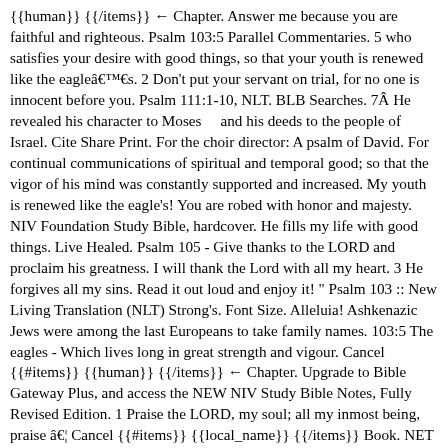{{human}} {{/items}} ← Chapter. Answer me because you are faithful and righteous. Psalm 103:5 Parallel Commentaries. 5 who satisfies your desire with good things, so that your youth is renewed like the eagleâs. 2 Don't put your servant on trial, for no one is innocent before you. Psalm 111:1-10, NLT. BLB Searches. 7Â He revealed his character to Moses    and his deeds to the people of Israel. Cite Share Print. For the choir director: A psalm of David. For continual communications of spiritual and temporal good; so that the vigor of his mind was constantly supported and increased. My youth is renewed like the eagle's! You are robed with honor and majesty. NIV Foundation Study Bible, hardcover. He fills my life with good things. Live Healed. Psalm 105 - Give thanks to the LORD and proclaim his greatness. I will thank the Lord with all my heart. 3 He forgives all my sins. Read it out loud and enjoy it! " Psalm 103 :: New Living Translation (NLT) Strong's. Font Size. Alleluia! Ashkenazic Jews were among the last Europeans to take family names. 103:5 The eagles - Which lives long in great strength and vigour. Cancel {{#items}} {{human}} {{/items}} ← Chapter. Upgrade to Bible Gateway Plus, and access the NEW NIV Study Bible Notes, Fully Revised Edition. 1 Praise the LORD, my soul; all my inmost being, praise â¦ Cancel {{#items}} {{local_name}} {{/items}} Book. NET RSV ASV YLT DBY WEB HNV. Psalm 103:5(NASB) Verse Thoughts. Psalm 95:1-11, NLT. The Power of Sin--"Who redeemeth thy life from destruction." 4 He redeems me from death and crowns me